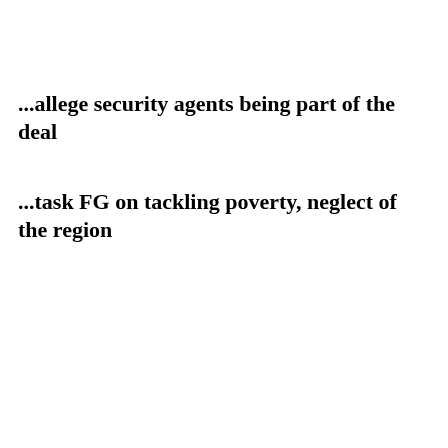...allege security agents being part of the deal
...task FG on tackling poverty, neglect of the region